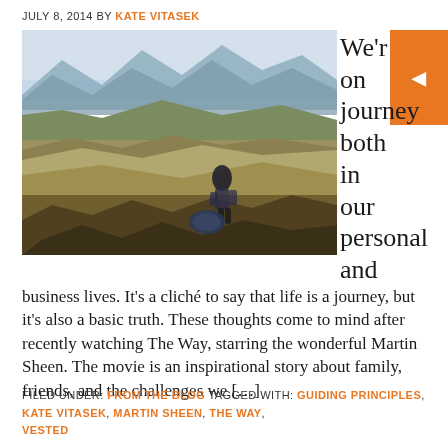JULY 8, 2014 BY KATE VITASEK
[Figure (photo): A person standing on a rocky mountain hillside with a backpack on the ground, rugged green and brown terrain, mountains in the background under a soft sky.]
We're on journeys both in our personal and business lives. It's a cliché to say that life is a journey, but it's also a basic truth. These thoughts come to mind after recently watching The Way, starring the wonderful Martin Sheen. The movie is an inspirational story about family, friends, and the challenges we […]
FILED UNDER: FROM THE BLOG TAGGED WITH: GUIDING PRINCIPLES, KATE VITASEK, MARTIN SHEEN, THE WAY, VESTED